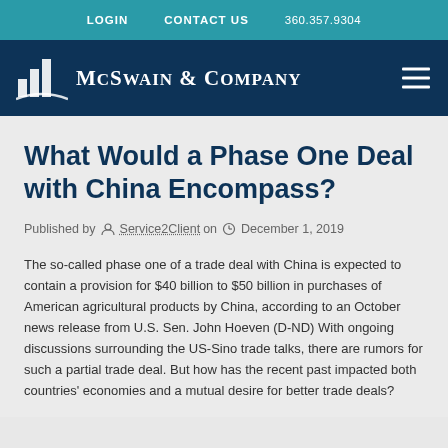LOGIN   CONTACT US   360.357.9304
[Figure (logo): McSwain & Company logo with bar chart icon and navigation bar]
What Would a Phase One Deal with China Encompass?
Published by Service2Client on December 1, 2019
The so-called phase one of a trade deal with China is expected to contain a provision for $40 billion to $50 billion in purchases of American agricultural products by China, according to an October news release from U.S. Sen. John Hoeven (D-ND) With ongoing discussions surrounding the US-Sino trade talks, there are rumors for such a partial trade deal. But how has the recent past impacted both countries' economies and a mutual desire for better trade deals?